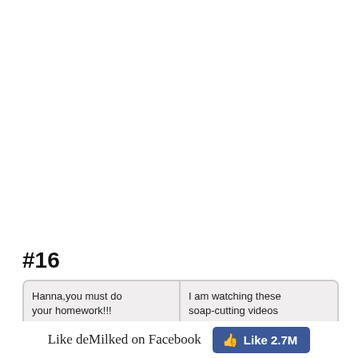#16
[Figure (illustration): Two-panel comic strip. Left panel: A mom character saying 'Hanna,you must do your homework!!!' to a child. Right panel: The same character with wide eyes saying 'I am watching these soap-cutting videos']
Like deMilked on Facebook
[Figure (other): Facebook Like button showing 'Like 2.7M']